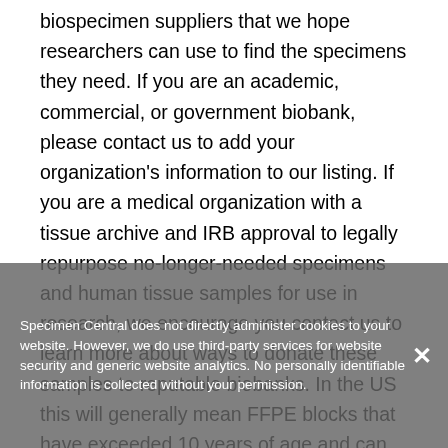biospecimen suppliers that we hope researchers can use to find the specimens they need. If you are an academic, commercial, or government biobank, please contact us to add your organization's information to our listing. If you are a medical organization with a tissue archive and IRB approval to legally repurpose no-longer-needed specimens and human tissue samples for use in research, we encourage you contact us to learn more about ways to donate these samples to reputable biobanks. In the US this will generally mean FFPE blocks that have exceeded 10 years of age and can now be de-identified and repurposed for use in research according to College of American Pathologist (CAP) guidelines.  If you are a researcher looking for samples, feel free to contact any of the organizations in our directory directly, or if you want
Specimen Central does not directly administer cookies to your website. However, we do use third-party services for website security and generic website analytics. No personally identifiable information is collected without your permission.